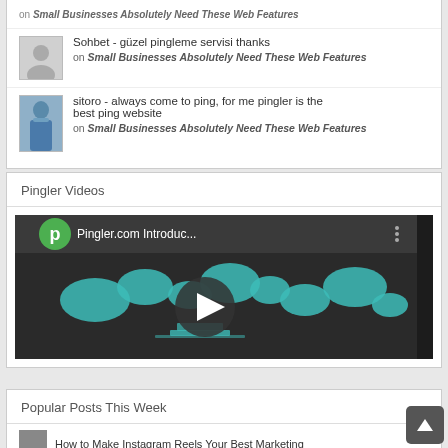[Figure (photo): Gray silhouette avatar placeholder image]
Sohbet - güzel pingleme servisi thanks
on Small Businesses Absolutely Need These Web Features
[Figure (photo): Photo of a person wearing a blue shirt]
sitoro - always come to ping, for me pingler is the best ping website
on Small Businesses Absolutely Need These Web Features
Pingler Videos
[Figure (screenshot): YouTube video thumbnail for Pingler.com Introduc... showing a world map with teal/cyan continents and a play button circle in the center. Green circle with letter p logo in top left corner.]
Popular Posts This Week